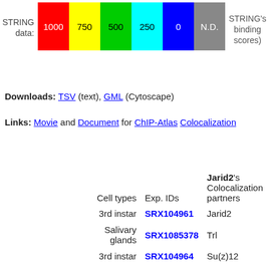[Figure (infographic): Color legend for STRING data binding scores: colored boxes labeled 1000 (red), 750 (yellow), 500 (green), 250 (cyan), 0 (blue), N.D. (gray), followed by label STRING's binding scores)]
Downloads: TSV (text), GML (Cytoscape)
Links: Movie and Document for ChIP-Atlas Colocalization
| Cell types | Exp. IDs | Jarid2's Colocalization partners |
| --- | --- | --- |
| 3rd instar | SRX104961 | Jarid2 |
| Salivary glands | SRX1085378 | Trl |
| 3rd instar | SRX104964 | Su(z)12 |
| Salivary glands | SRX097296 | Orc2 |
| Salivary glands | SRX097295 | Orc2 |